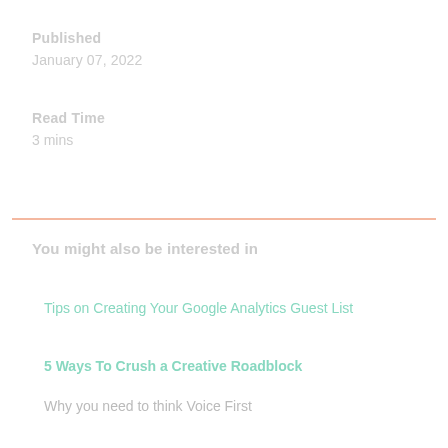Published
January 07, 2022
Read Time
3 mins
You might also be interested in
Tips on Creating Your Google Analytics Guest List
5 Ways To Crush a Creative Roadblock
Why you need to think Voice First